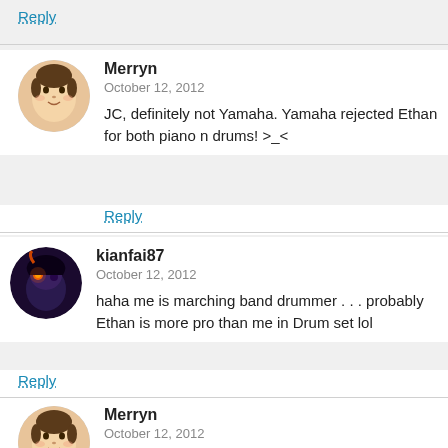Reply
Merryn
October 12, 2012
JC, definitely not Yamaha. Yamaha rejected Ethan for both piano n drums! >_<
Reply
kianfai87
October 12, 2012
haha me is marching band drummer . . . probably Ethan is more pro than me in Drum set lol
Reply
Merryn
October 12, 2012
ethan just started yesterday only. Mana can be more pro than you? ^_^
Reply